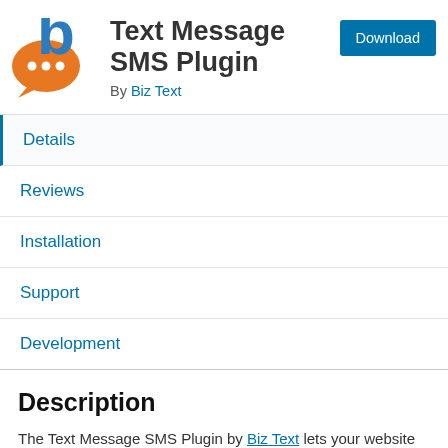[Figure (logo): Biz Text logo: orange speech bubble with three dots and blue letter b]
Text Message SMS Plugin
By Biz Text
Details
Reviews
Installation
Support
Development
Description
The Text Message SMS Plugin by Biz Text lets your website receive and send text messages (SMS). You